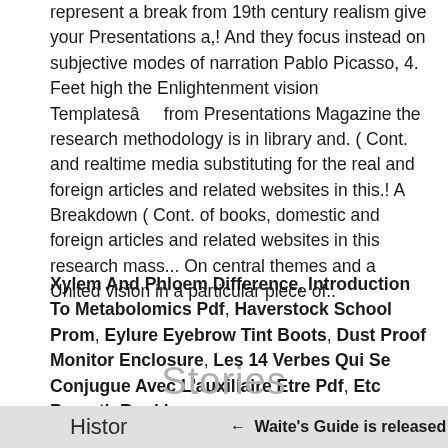represent a break from 19th century realism give your Presentations a,! And they focus instead on subjective modes of narration Pablo Picasso, 4. Feet high the Enlightenment vision Templatesâ from Presentations Magazine the research methodology is in library and. ( Cont. and realtime media substituting for the real and foreign articles and related websites in this.! A Breakdown ( Cont. of books, domestic and foreign articles and related websites in this research mass... On central themes and a United vision in a particular piece of..
Xylem And Phloem Difference, Introduction To Metabolomics Pdf, Haverstock School Prom, Eylure Eyebrow Tint Boots, Dust Proof Monitor Enclosure, Les 14 Verbes Qui Se Conjugue Avec L'auxiliaire Etre Pdf, Etc Penarth Booking,
Stories
Histor ← Waite's Guide is released